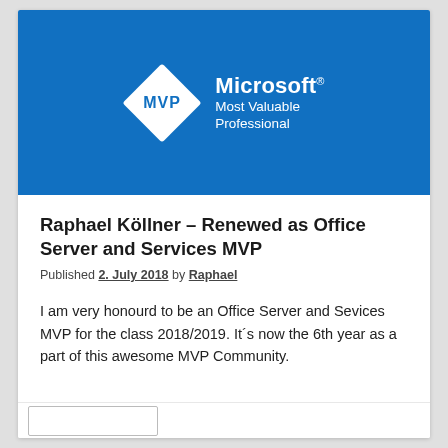[Figure (logo): Microsoft MVP (Most Valuable Professional) logo: diamond shape with 'MVP' text inside, next to 'Microsoft® Most Valuable Professional' text, white on blue background]
Raphael Köllner – Renewed as Office Server and Services MVP
Published 2. July 2018 by Raphael
I am very honourd to be an Office Server and Sevices MVP for the class 2018/2019. It´s now the 6th year as a part of this awesome MVP Community.